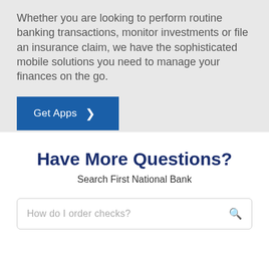Whether you are looking to perform routine banking transactions, monitor investments or file an insurance claim, we have the sophisticated mobile solutions you need to manage your finances on the go.
Get Apps
Have More Questions?
Search First National Bank
How do I order checks?